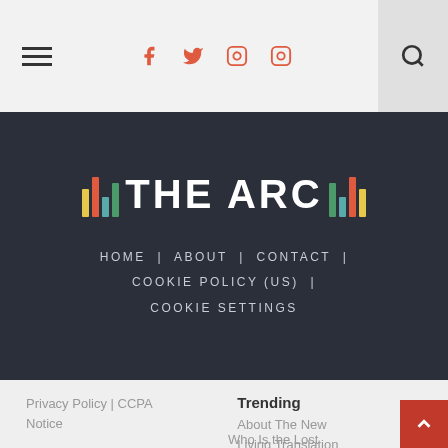Navigation bar with hamburger menu, social icons (f, twitter, pinterest, instagram), and search icon
[Figure (logo): THE ARC logo with colorful vertical bar decorations on dark navy background]
HOME | ABOUT | CONTACT | COOKIE POLICY (US) | COOKIE SETTINGS
Privacy Policy | CCPA Notice
Trending
About The New Living Translation
Who Is the Lost Sheep?
Tyndale | Bibles :: New Testament?